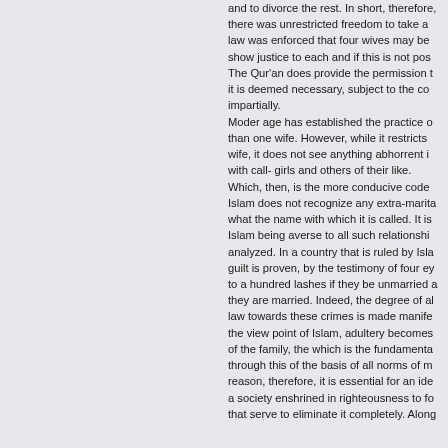and to divorce the rest. In short, therefore, there was unrestricted freedom to take as many wives as one wished and to divorce the rest. Islam enforced that four wives may be kept at one time subject to the condition that one must be able to show justice to each and if this is not possible, then only one wife should be kept. The Qur'an does provide the permission to have more than one wife if it is deemed necessary, subject to the condition that all wives are treated impartially. Moder age has established the practice of not keeping more than one wife. However, while it restricts having more than one legal wife, it does not see anything abhorrent in keeping extra legal contacts with call- girls and others of their like. Which, then, is the more conducive code of morality? Islam does not recognize any extra-marital relationship, irrespective of what the name with which it is called. It is only natural therefore that Islam being averse to all such relationships, the question of their being analyzed. In a country that is ruled by Islamic law, once the guilt is proven, by the testimony of four eye-witnesses, the punishment to a hundred lashes if they be unmarried and stoning to death if they are married. Indeed, the degree of abhorrence of the Islamic law towards these crimes is made manifest by this punishment. From the view point of Islam, adultery becomes an attack on the sanctity of the family, the which is the fundamental unit of society and through this of the basis of all norms of morality. For this reason, therefore, it is essential for an ideal Islamic society to be a society enshrined in righteousness to formulate and enforce laws that serve to eliminate it completely. Along